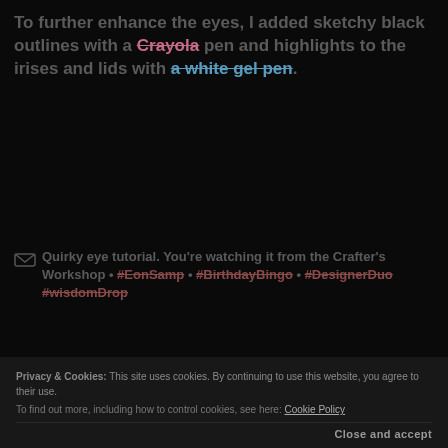To further enhance the eyes, I added sketchy black outlines with a Crayola pen and highlights to the irises and lids with a white gel pen.
Quirky eye tutorial. You're watching it from the Crafter's Workshop • #EonSamp • #BirthdayBingo • #DesignerDuo #wisdomDrop
[Figure (other): Loading spinner — a circular arc in teal/dark color on dark background, indicating page content loading]
Privacy & Cookies: This site uses cookies. By continuing to use this website, you agree to their use. To find out more, including how to control cookies, see here: Cookie Policy
Close and accept